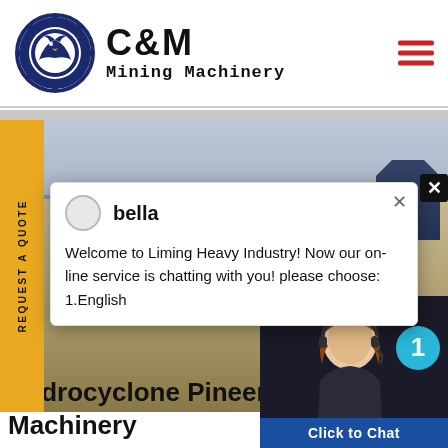[Figure (logo): C&M Mining Machinery logo with eagle in gear circle and company name text]
[Figure (screenshot): Website screenshot showing mining machinery in desert setting with chat popup overlay]
bella
Welcome to Liming Heavy Industry! Now our on-line service is chatting with you! please choose: 1.English
Hydrocyclone Pineer Min Machinery
[Figure (photo): Customer support representative with headset]
Click to Chat
Enquiry